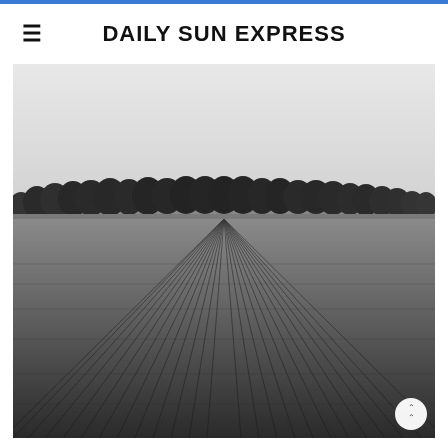DAILY SUN EXPRESS
[Figure (photo): Black and white photograph of a plowed agricultural field with curved furrow lines in the foreground, and a long row of leafy trees along the horizon under a pale overcast sky.]